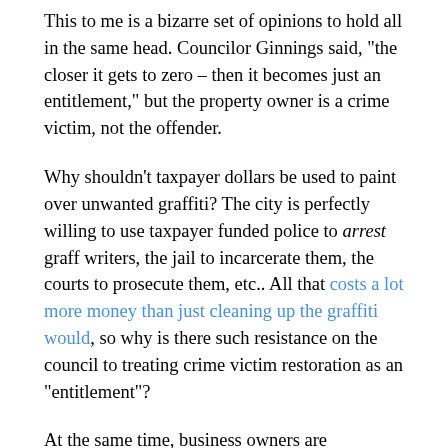This to me is a bizarre set of opinions to hold all in the same head. Councilor Ginnings said, "the closer it gets to zero – then it becomes just an entitlement," but the property owner is a crime victim, not the offender.
Why shouldn't taxpayer dollars be used to paint over unwanted graffiti? The city is perfectly willing to use taxpayer funded police to arrest graff writers, the jail to incarcerate them, the courts to prosecute them, etc.. All that costs a lot more money than just cleaning up the graffiti would, so why is there such resistance on the council to treating crime victim restoration as an "entitlement"?
At the same time, business owners are complaining about graffiti that's been there 15 years. You could fine every business owner in town and that graff will still be on the wall until